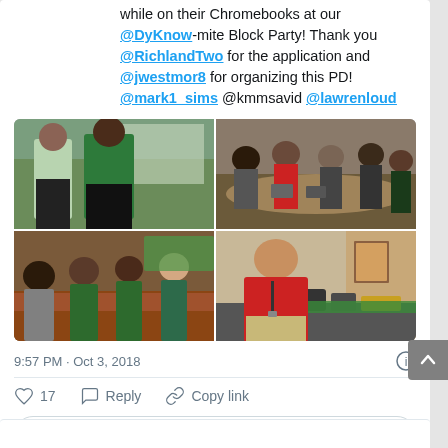while on their Chromebooks at our @DyKnow-mite Block Party! Thank you @RichlandTwo for the application and @jwestmor8 for organizing this PD! @mark1_sims @kmmsavid @lawrenloud
[Figure (photo): Four photos in a 2x2 grid showing a professional development event. Top-left: two people standing in front of a projection screen. Top-right: group of people seated around a table with laptops. Bottom-left: group of people seated around a conference table smiling. Bottom-right: a person in a red shirt standing at a table with food/equipment.]
9:57 PM · Oct 3, 2018
17  Reply  Copy link
Explore what's happening on Twitter